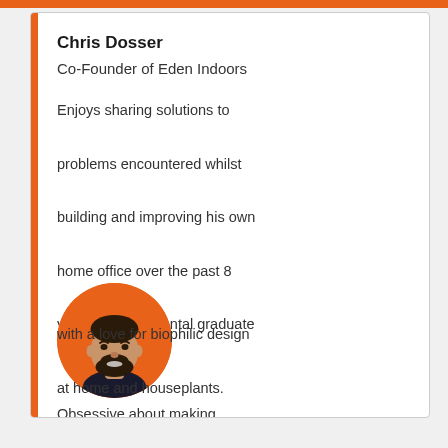Chris Dosser
Co-Founder of Eden Indoors
Enjoys sharing solutions to problems encountered whilst building and improving his own home office over the past 8 years. Environmental graduate with a love for biophilic design at home and houseplants. Obsessive about making information easier to
[Figure (photo): Circular portrait photo of Chris Dosser on an orange background, showing a man with a dark beard and short hair, wearing a dark shirt.]